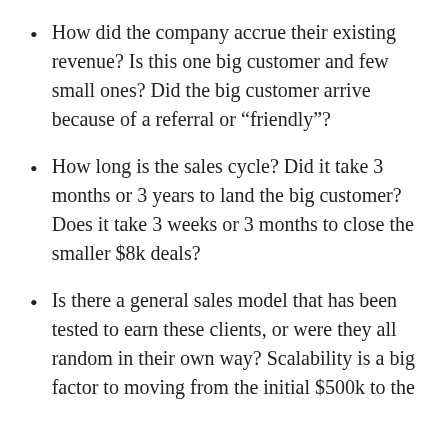How did the company accrue their existing revenue? Is this one big customer and few small ones? Did the big customer arrive because of a referral or “friendly”?
How long is the sales cycle? Did it take 3 months or 3 years to land the big customer? Does it take 3 weeks or 3 months to close the smaller $8k deals?
Is there a general sales model that has been tested to earn these clients, or were they all random in their own way? Scalability is a big factor to moving from the initial $500k to the